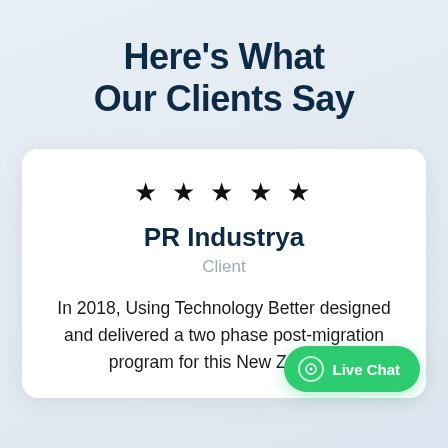Here’s What Our Clients Say
★ ★ ★ ★ ★
PR Industrya
Client
In 2018, Using Technology Better designed and delivered a two phase post-migration program for this New Zealand